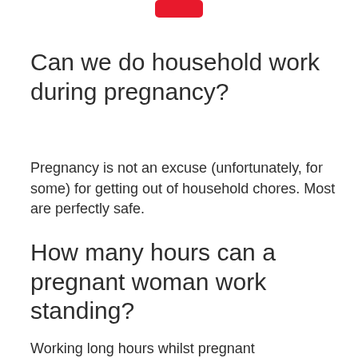[Figure (logo): Red rounded rectangle logo at top center]
Can we do household work during pregnancy?
Pregnancy is not an excuse (unfortunately, for some) for getting out of household chores. Most are perfectly safe.
How many hours can a pregnant woman work standing?
Working long hours whilst pregnant